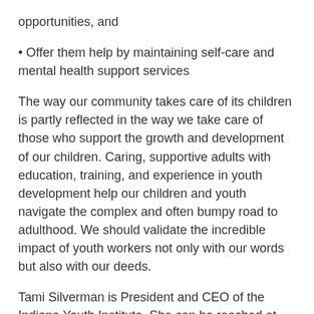opportunities, and
• Offer them help by maintaining self-care and mental health support services
The way our community takes care of its children is partly reflected in the way we take care of those who support the growth and development of our children. Caring, supportive adults with education, training, and experience in youth development help our children and youth navigate the complex and often bumpy road to adulthood. We should validate the incredible impact of youth workers not only with our words but also with our deeds.
Tami Silverman is President and CEO of the Indiana Youth Institute. She can be reached at iyi@iyi.org or on Twitter at @Tami_IYI.